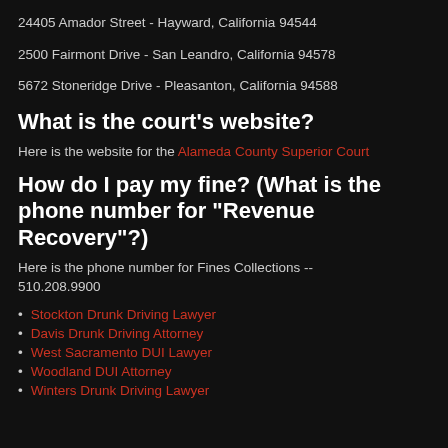24405 Amador Street - Hayward, California 94544
2500 Fairmont Drive - San Leandro, California 94578
5672 Stoneridge Drive - Pleasanton, California 94588
What is the court's website?
Here is the website for the Alameda County Superior Court
How do I pay my fine? (What is the phone number for "Revenue Recovery"?)
Here is the phone number for Fines Collections -- 510.208.9900
Stockton Drunk Driving Lawyer
Davis Drunk Driving Attorney
West Sacramento DUI Lawyer
Woodland DUI Attorney
Winters Drunk Driving Lawyer